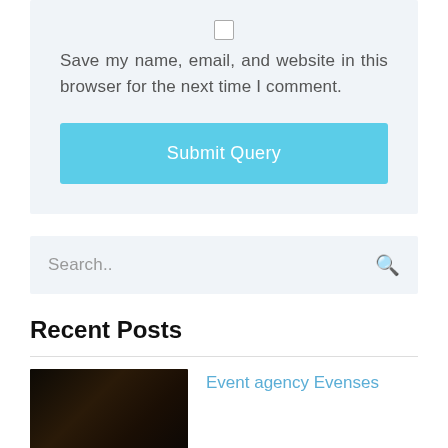Save my name, email, and website in this browser for the next time I comment.
[Figure (other): Submit Query button - a wide cyan/light-blue button with white text]
[Figure (other): Search input field with search icon on the right]
Recent Posts
[Figure (photo): Small dark thumbnail image for a post]
Event agency Evenses